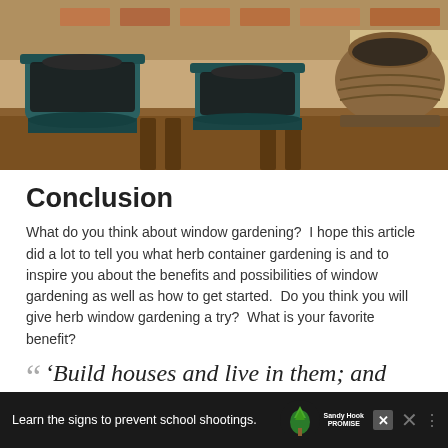[Figure (photo): Photo of gardening pots filled with dark soil on a wooden table, including teal/dark blue plastic pots and a decorative metal urn, with a brick background]
Conclusion
What do you think about window gardening?  I hope this article did a lot to tell you what herb container gardening is and to inspire you about the benefits and possibilities of window gardening as well as how to get started.  Do you think you will give herb window gardening a try?  What is your favorite benefit?
“ ‘Build houses and live in them; and plant gardens and eat their produce’
[Figure (screenshot): Advertisement bar at bottom: dark background with text 'Learn the signs to prevent school shootings.' with Sandy Hook Promise logo, close button, and other icons]